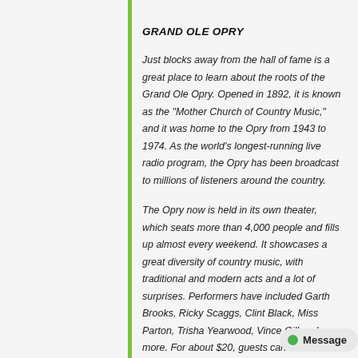GRAND OLE OPRY
Just blocks away from the hall of fame is a great place to learn about the roots of the Grand Ole Opry. Opened in 1892, it is known as the "Mother Church of Country Music," and it was home to the Opry from 1943 to 1974. As the world's longest-running live radio program, the Opry has been broadcast to millions of listeners around the country.
The Opry now is held in its own theater, which seats more than 4,000 people and fills up almost every weekend. It showcases a great diversity of country music, with traditional and modern acts and a lot of surprises. Performers have included Garth Brooks, Ricky Scaggs, Clint Black, Miss Parton, Trisha Yearwood, Vince Gill and more. For about $20, guests can hear a three-hour sampling of both country